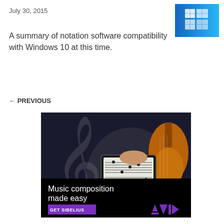July 30, 2015
[Figure (screenshot): Windows 10 logo — blue window panes on gradient blue background]
A summary of notation software compatibility with Windows 10 at this time.
← PREVIOUS
[Figure (photo): Avid Sibelius advertisement: person using tablet with sheet music, treble clef overlay, text 'Music composition made easy', GET SIBELIUS button, AVID logo]